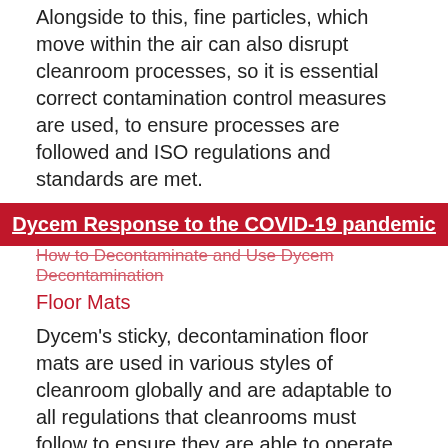Alongside to this, fine particles, which move within the air can also disrupt cleanroom processes, so it is essential correct contamination control measures are used, to ensure processes are followed and ISO regulations and standards are met.
Dycem Response to the COVID-19 pandemic
Floor Mats
Dycem's sticky, decontamination floor mats are used in various styles of cleanroom globally and are adaptable to all regulations that cleanrooms must follow to ensure they are able to operate.
Using Dycem's unique and unequalled cleanroom mats, allows cleanrooms to keep running to regulation standard and adapts to whichever cleanroom process need to be followed to ensure risks to products and damage to cleanroom procedures are avoided and decontamination procedures are followed.